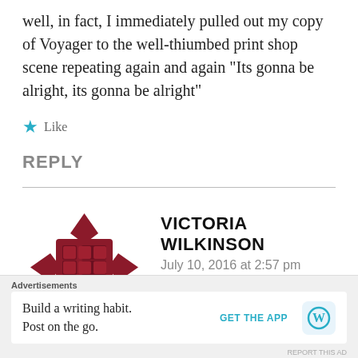well, in fact, I immediately pulled out my copy of Voyager to the well-thiumbed print shop scene repeating again and again “Its gonna be alright, its gonna be alright”
★ Like
REPLY
[Figure (logo): Dark red ornate cross/badge avatar icon for Victoria Wilkinson]
VICTORIA WILKINSON
July 10, 2016 at 2:57 pm
Advertisements
Build a writing habit. Post on the go.
GET THE APP